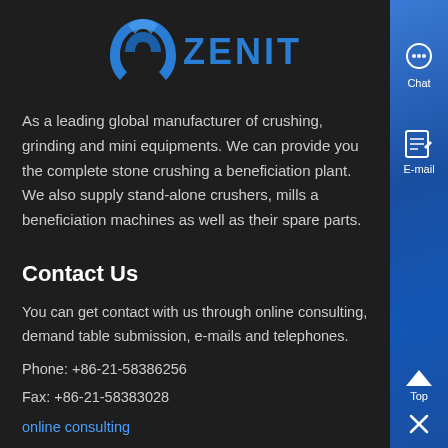[Figure (logo): Zenit company logo with blue arch/boomerang icon and ZENIT text in blue capitals]
As a leading global manufacturer of crushing, grinding and mini equipments. We can provide you the complete stone crushing a beneficiation plant. We also supply stand-alone crushers, mills a beneficiation machines as well as their spare parts.
Contact Us
You can get contact with us through online consulting, demand table submission, e-mails and telephones.
Phone: +86-21-58386256
Fax: +86-21-58383028
online consulting